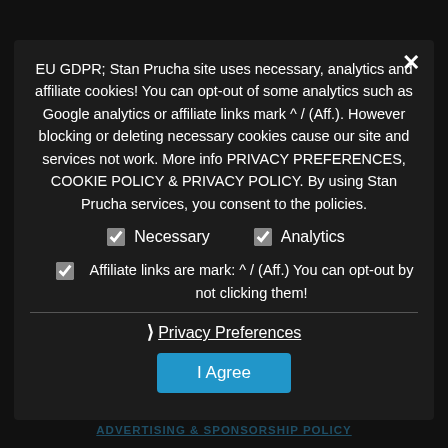[Figure (screenshot): Cookie consent modal dialog on a dark background. Contains GDPR notice text, checkboxes for Necessary and Analytics, affiliate disclaimer, Privacy Preferences link, and I Agree button. Background shows faint teal navigation links.]
EU GDPR; Stan Prucha site uses necessary, analytics and affiliate cookies! You can opt-out of some analytics such as Google analytics or affiliate links mark ^ / (Aff.). However blocking or deleting necessary cookies cause our site and services not work. More info PRIVACY PREFERENCES, COOKIE POLICY & PRIVACY POLICY. By using Stan Prucha services, you consent to the policies.
✓ Necessary   ✓ Analytics
✓ Affiliate links are mark: ^ / (Aff.) You can opt-out by not clicking them!
❯ Privacy Preferences
I Agree